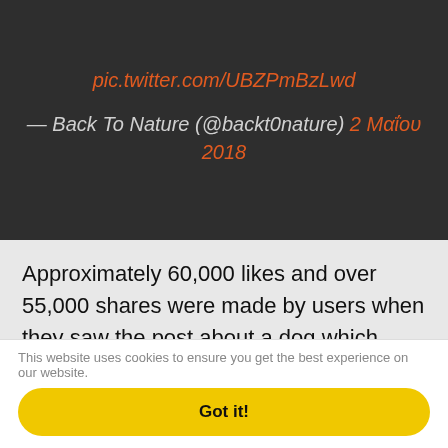pic.twitter.com/UBZPmBzLwd
— Back To Nature (@backt0nature) 2 Μαΐου 2018
Approximately 60,000 likes and over 55,000 shares were made by users when they saw the post about a dog which sleeps on a tombstone. The caption says the dog named Captain has been visiting his owner's grave for the last seven years and sleeping there until morning. The photo is real, and so is the story. The problem is, they aren't
This website uses cookies to ensure you get the best experience on our website.
Got it!